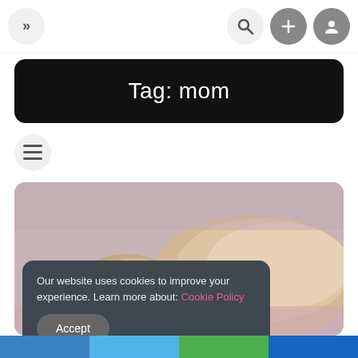[Figure (screenshot): Website navigation bar with a double-chevron button on the left and search, plus, and profile icon buttons on the right]
Tag: mom
[Figure (screenshot): Menu/hamburger icon button]
[Figure (photo): Photo of a cat lying on a pink/mauve surface, with a 'News' badge in the upper right corner]
Our website uses cookies to improve your experience. Learn more about: Cookie Policy
Accept